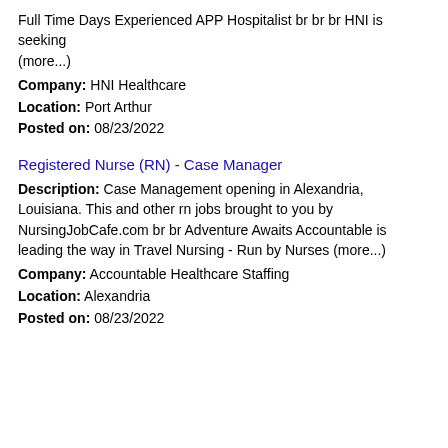Full Time Days Experienced APP Hospitalist br br br HNI is seeking (more...)
Company: HNI Healthcare
Location: Port Arthur
Posted on: 08/23/2022
Registered Nurse (RN) - Case Manager
Description: Case Management opening in Alexandria, Louisiana. This and other rn jobs brought to you by NursingJobCafe.com br br Adventure Awaits Accountable is leading the way in Travel Nursing - Run by Nurses (more...)
Company: Accountable Healthcare Staffing
Location: Alexandria
Posted on: 08/23/2022